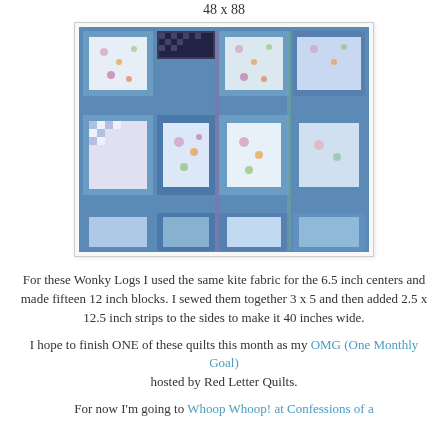48 x 88
[Figure (photo): Close-up photograph of a wonky log cabin quilt showing blue, white, and floral patterned fabric blocks arranged in a grid pattern with various blue sashing strips]
For these Wonky Logs I used the same kite fabric for the 6.5 inch centers and made fifteen 12 inch blocks. I sewed them together 3 x 5 and then added 2.5 x 12.5 inch strips to the sides to make it 40 inches wide.
I hope to finish ONE of these quilts this month as my OMG (One Monthly Goal) hosted by Red Letter Quilts.
For now I'm going to Whoop Whoop! at Confessions of a